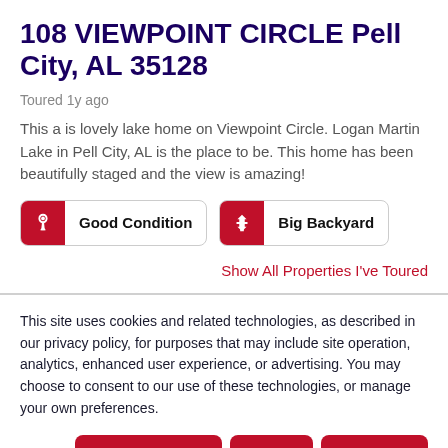108 VIEWPOINT CIRCLE Pell City, AL 35128
Toured 1y ago
This a is lovely lake home on Viewpoint Circle. Logan Martin Lake in Pell City, AL is the place to be. This home has been beautifully staged and the view is amazing!
Good Condition
Big Backyard
Show All Properties I've Toured
This site uses cookies and related technologies, as described in our privacy policy, for purposes that may include site operation, analytics, enhanced user experience, or advertising. You may choose to consent to our use of these technologies, or manage your own preferences.
Manage Settings
Accept
Decline All